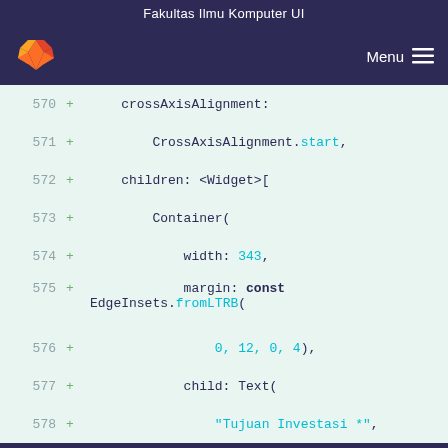Fakultas Ilmu Komputer UI
[Figure (screenshot): GitLab-style navigation bar with fox logo and Menu hamburger button on dark purple background]
570 +     crossAxisAlignment:
571 +         CrossAxisAlignment.start,
572 +     children: <Widget>[
573 +         Container(
574 +             width: 343,
575 +             margin: const EdgeInsets.fromLTRB(
576 +                 0, 12, 0, 4),
577 +             child: Text(
578 +                 "Tujuan Investasi *",
Excellence In Teamwork